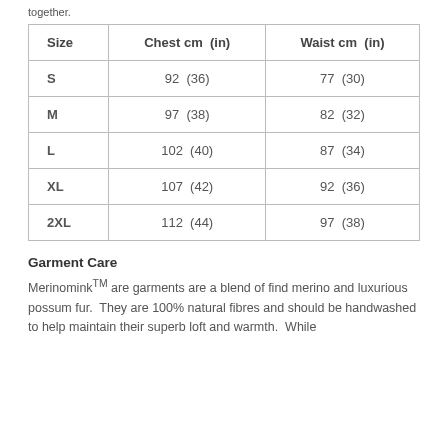together.
| Size | Chest cm  (in) | Waist cm  (in) |
| --- | --- | --- |
| S | 92  (36) | 77  (30) |
| M | 97  (38) | 82  (32) |
| L | 102  (40) | 87  (34) |
| XL | 107  (42) | 92  (36) |
| 2XL | 112  (44) | 97  (38) |
Garment Care
Merinomink™ are garments are a blend of find merino and luxurious possum fur.  They are 100% natural fibres and should be handwashed to help maintain their superb loft and warmth.  While the Merinomink™ are...